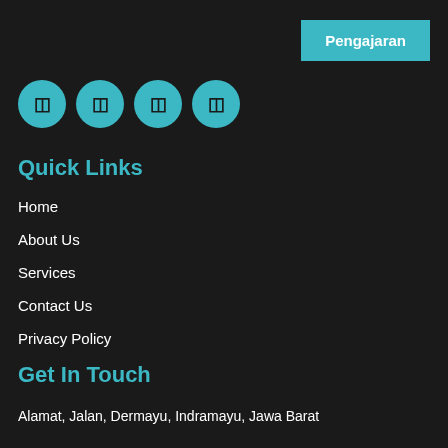Pengajaran
[Figure (other): Four teal circular social media icon buttons in a row]
Quick Links
Home
About Us
Services
Contact Us
Privacy Policy
Get In Touch
Alamat, Jalan, Dermayu, Indramayu, Jawa Barat